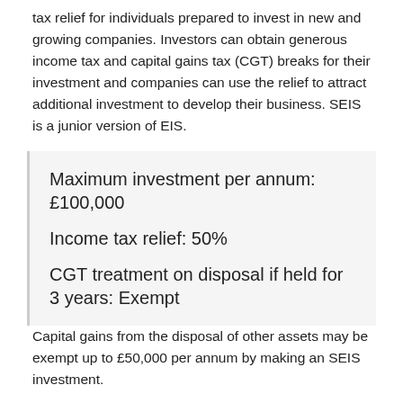tax relief for individuals prepared to invest in new and growing companies. Investors can obtain generous income tax and capital gains tax (CGT) breaks for their investment and companies can use the relief to attract additional investment to develop their business. SEIS is a junior version of EIS.
Maximum investment per annum: £100,000
Income tax relief: 50%
CGT treatment on disposal if held for 3 years: Exempt
Capital gains from the disposal of other assets may be exempt up to £50,000 per annum by making an SEIS investment.